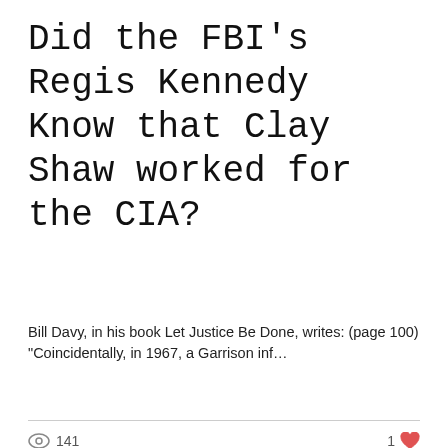Did the FBI's Regis Kennedy Know that Clay Shaw worked for the CIA?
Bill Davy, in his book Let Justice Be Done, writes: (page 100) "Coincidentally, in 1967, a Garrison inf…
👁 141    1 ♥